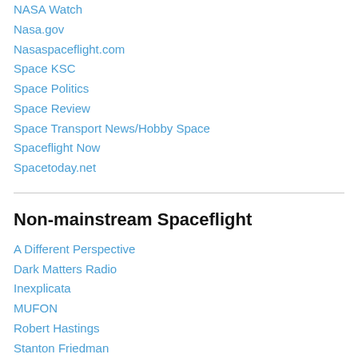NASA Watch
Nasa.gov
Nasaspaceflight.com
Space KSC
Space Politics
Space Review
Space Transport News/Hobby Space
Spaceflight Now
Spacetoday.net
Non-mainstream Spaceflight
A Different Perspective
Dark Matters Radio
Inexplicata
MUFON
Robert Hastings
Stanton Friedman
The UFO Chronicles
UFO Case Book